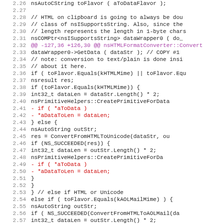Code diff snippet showing nsHTMLFormatConverter lines 2.26-2.57
2.26    nsAutoCString toFlavor ( aToDataFlavor );
2.27
2.28    // HTML on clipboard is going to always be dou
2.29    // class of nsISupportsString. Also, since the
2.30    // length represents the length in 1-byte chars
2.31    nsCOMPtr<nsISupportsString> dataWrapper0 ( do_
2.32    @@ -127,36 +126,30 @@ nsHTMLFormatConverter::Convert
2.33    dataWrapper0->GetData ( dataStr ); // COPY #1
2.34    // note: conversion to text/plain is done insi
2.35    // about it here.
2.36    if ( toFlavor.Equals(kHTMLMime) || toFlavor.Equ
2.37      nsresult res;
2.38      if (toFlavor.Equals(kHTMLMime)) {
2.39        int32_t dataLen = dataStr.Length() * 2;
2.40        nsPrimitiveHelpers::CreatePrimitiveForData
2.41  -     if ( *aToData )
2.42  -       *aDataToLen = dataLen;
2.43      } else {
2.44        nsAutoString outStr;
2.45        res = ConvertFromHTMLToUnicode(dataStr, ou
2.46        if (NS_SUCCEEDED(res)) {
2.47          int32_t dataLen = outStr.Length() * 2;
2.48          nsPrimitiveHelpers::CreatePrimitiveForDa
2.49  -       if ( *aToData )
2.50  -         *aDataToLen = dataLen;
2.51        }
2.52      }
2.53    } // else if HTML or Unicode
2.54    else if ( toFlavor.Equals(kAOLMailMime) ) {
2.55      nsAutoString outStr;
2.56      if ( NS_SUCCEEDED(ConvertFromHTMLToAOLMail(da
2.57        int32_t dataLen = outStr.Length() * 2;